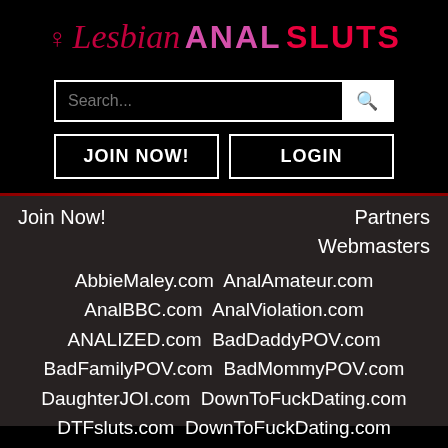♀ Lesbian ANAL SLUTS
Search...
JOIN NOW!
LOGIN
Join Now!
Partners
Webmasters
AbbieMaley.com  AnalAmateur.com  AnalBBC.com  AnalViolation.com  ANALIZED.com  BadDaddyPOV.com  BadFamilyPOV.com  BadMommyPOV.com  DaughterJOI.com  DownToFuckDating.com  DTFsluts.com  DownToFuckDating.com